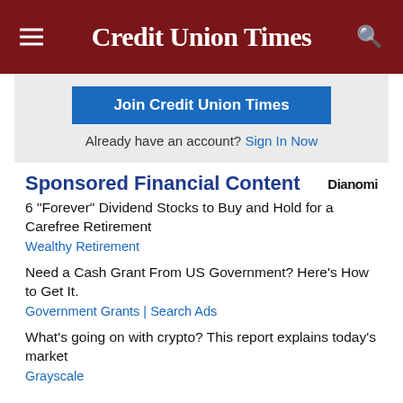Credit Union Times
Join Credit Union Times
Already have an account? Sign In Now
Sponsored Financial Content
6 "Forever" Dividend Stocks to Buy and Hold for a Carefree Retirement
Wealthy Retirement
Need a Cash Grant From US Government? Here's How to Get It.
Government Grants | Search Ads
What's going on with crypto? This report explains today's market
Grayscale